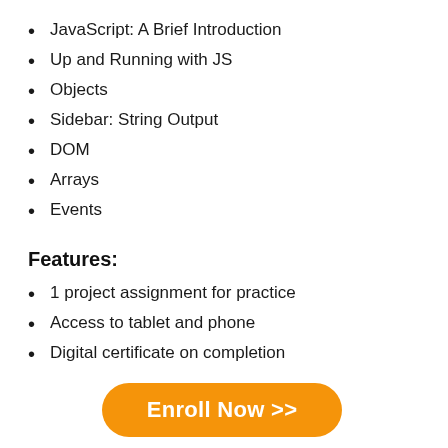JavaScript: A Brief Introduction
Up and Running with JS
Objects
Sidebar: String Output
DOM
Arrays
Events
Features:
1 project assignment for practice
Access to tablet and phone
Digital certificate on completion
Enroll Now >>